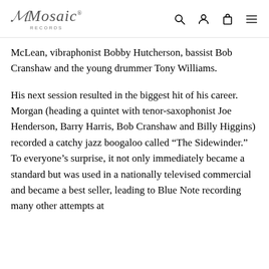Mosaic Records
McLean, vibraphonist Bobby Hutcherson, bassist Bob Cranshaw and the young drummer Tony Williams.
His next session resulted in the biggest hit of his career. Morgan (heading a quintet with tenor-saxophonist Joe Henderson, Barry Harris, Bob Cranshaw and Billy Higgins) recorded a catchy jazz boogaloo called “The Sidewinder.” To everyone’s surprise, it not only immediately became a standard but was used in a nationally televised commercial and became a best seller, leading to Blue Note recording many other attempts at